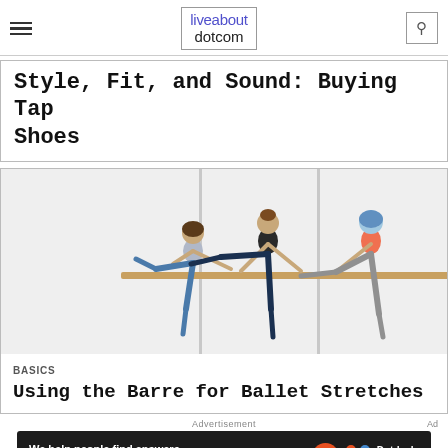liveabout dotcom
Style, Fit, and Sound: Buying Tap Shoes
[Figure (photo): Three women doing ballet barre stretches, each with one leg raised on a horizontal barre in a studio setting with vertical poles dividing the frame into three sections.]
BASICS
Using the Barre for Ballet Stretches
Advertisement
Ad
We help people find answers, solve problems and get inspired.
[Figure (logo): Dotdash Meredith logo with orange D circle and colorful dots icon]